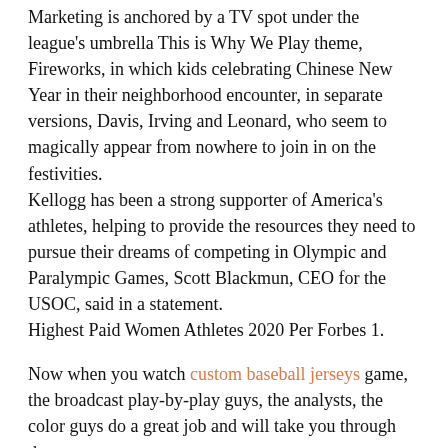Marketing is anchored by a TV spot under the league's umbrella This is Why We Play theme, Fireworks, in which kids celebrating Chinese New Year in their neighborhood encounter, in separate versions, Davis, Irving and Leonard, who seem to magically appear from nowhere to join in on the festivities.
Kellogg has been a strong supporter of America's athletes, helping to provide the resources they need to pursue their dreams of competing in Olympic and Paralympic Games, Scott Blackmun, CEO for the USOC, said in a statement.
Highest Paid Women Athletes 2020 Per Forbes 1.
Now when you watch custom baseball jerseys game, the broadcast play-by-play guys, the analysts, the color guys do a great job and will take you through the game.